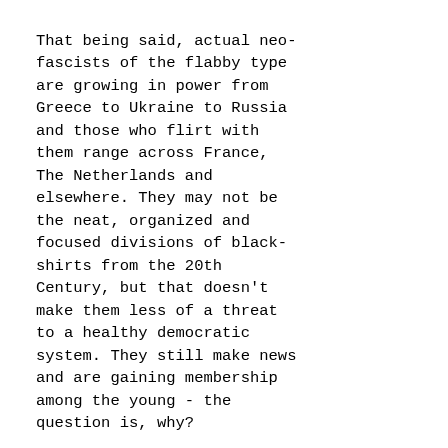That being said, actual neo-fascists of the flabby type are growing in power from Greece to Ukraine to Russia and those who flirt with them range across France, The Netherlands and elsewhere. They may not be the neat, organized and focused divisions of black-shirts from the 20th Century, but that doesn't make them less of a threat to a healthy democratic system. They still make news and are gaining membership among the young - the question is, why?

From my end it is simple; the mainline political parties have failed their people. Ever more self-